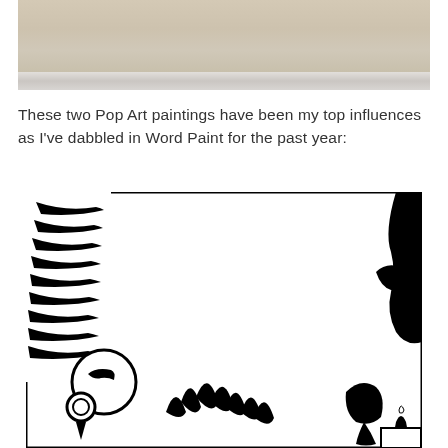[Figure (photo): Top portion of a photo showing a light beige/cream colored stretched canvas or board with a white horizontal stripe/edge visible at the bottom of the image.]
These two Pop Art paintings have been my top influences as I've dabbled in Word Paint for the past year:
[Figure (illustration): Black and white Pop Art style illustration showing a close-up of a comic-book style face/figure with bold black lines on white background, in the style of Roy Lichtenstein. The left side shows flowing hair with parallel stripes, a rounded head/face shape, circular earring, and the right side shows part of another face profile. Bottom shows black flame or feather-like shapes.]